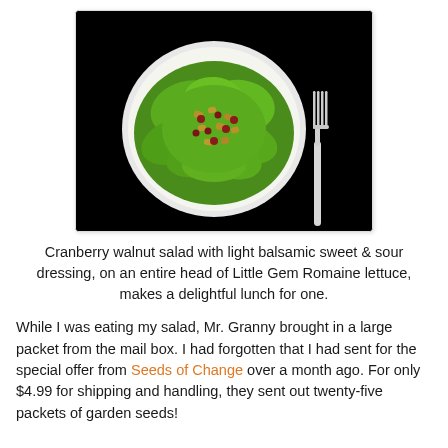[Figure (photo): Top-down view of a white bowl containing cranberry walnut salad on green romaine lettuce, with a silver fork to the right, all on a black background.]
Cranberry walnut salad with light balsamic sweet & sour dressing, on an entire head of Little Gem Romaine lettuce, makes a delightful lunch for one.
While I was eating my salad, Mr. Granny brought in a large packet from the mail box. I had forgotten that I had sent for the special offer from Seeds of Change over a month ago. For only $4.99 for shipping and handling, they sent out twenty-five packets of garden seeds!